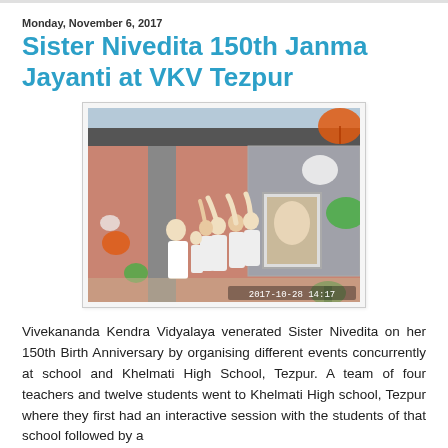Monday, November 6, 2017
Sister Nivedita 150th Janma Jayanti at VKV Tezpur
[Figure (photo): Group of students in white uniforms standing together, raising hands with decorative paper fans and a building in the background. Date stamp: 2017-10-28 14:17]
Vivekananda Kendra Vidyalaya venerated Sister Nivedita on her 150th Birth Anniversary by organising different events concurrently at school and Khelmati High School, Tezpur. A team of four teachers and twelve students went to Khelmati High school, Tezpur where they first had an interactive session with the students of that school followed by a...